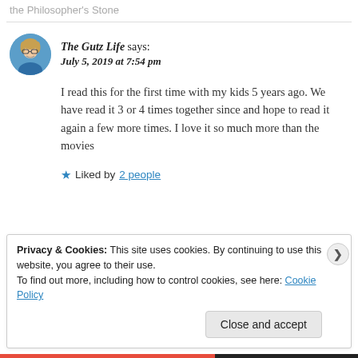the Philosopher's Stone
The Gutz Life says:
July 5, 2019 at 7:54 pm
I read this for the first time with my kids 5 years ago. We have read it 3 or 4 times together since and hope to read it again a few more times. I love it so much more than the movies
★ Liked by 2 people
Privacy & Cookies: This site uses cookies. By continuing to use this website, you agree to their use.
To find out more, including how to control cookies, see here: Cookie Policy
Close and accept